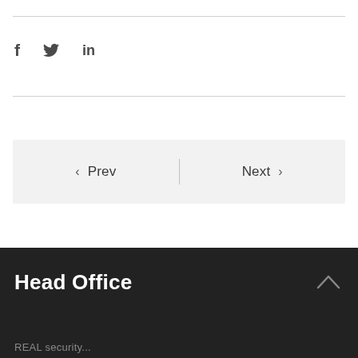[Figure (infographic): Social media share icons: Facebook (f), Twitter (bird), LinkedIn (in)]
< Prev | Next >
Head Office
REAL security...